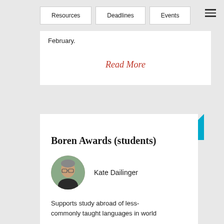Resources  Deadlines  Events
February.
Read More
Boren Awards (students)
Kate Dailinger
Supports study abroad of less-commonly taught languages in world